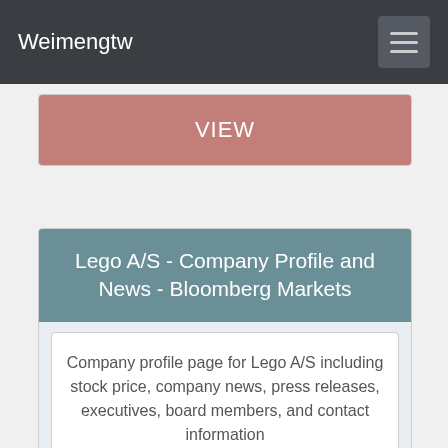Weimengtw
VIEW
Lego A/S - Company Profile and News - Bloomberg Markets
Company profile page for Lego A/S including stock price, company news, press releases, executives, board members, and contact information
VIEW